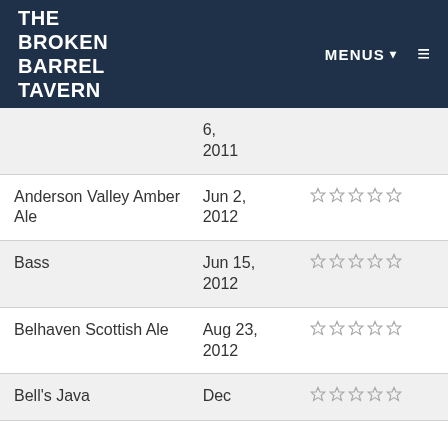THE BROKEN BARREL TAVERN | MENUS ▾ ≡
| Name | Date | Rating |
| --- | --- | --- |
|  | 6, 2011 |  |
| Anderson Valley Amber Ale | Jun 2, 2012 | ☆☆☆☆☆ |
| Bass | Jun 15, 2012 | ☆☆☆☆☆ |
| Belhaven Scottish Ale | Aug 23, 2012 | ☆☆☆☆☆ |
| Bell's Java | Dec | ☆☆☆☆☆ |